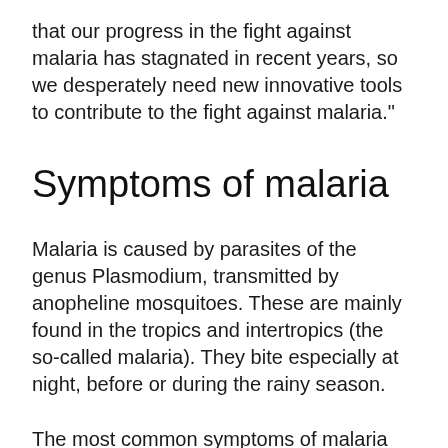that our progress in the fight against malaria has stagnated in recent years, so we desperately need new innovative tools to contribute to the fight against malaria."
Symptoms of malaria
Malaria is caused by parasites of the genus Plasmodium, transmitted by anopheline mosquitoes. These are mainly found in the tropics and intertropics (the so-called malaria). They bite especially at night, before or during the rainy season.
The most common symptoms of malaria are:
Fever, often high and accompanied by chills, sweating, pain in muscles and joints